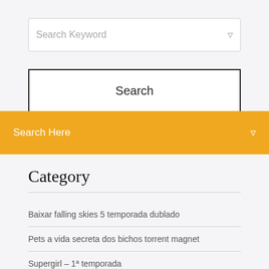Search Keyword
Search
Search Here
Category
Baixar falling skies 5 temporada dublado
Pets a vida secreta dos bichos torrent magnet
Supergirl – 1ª temporada